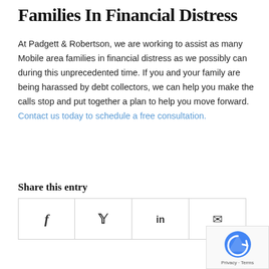Families In Financial Distress
At Padgett & Robertson, we are working to assist as many Mobile area families in financial distress as we possibly can during this unprecedented time. If you and your family are being harassed by debt collectors, we can help you make the calls stop and put together a plan to help you move forward. Contact us today to schedule a free consultation.
Share this entry
[Figure (other): Social share buttons row with icons for Facebook, Twitter, LinkedIn, and Email/Mail]